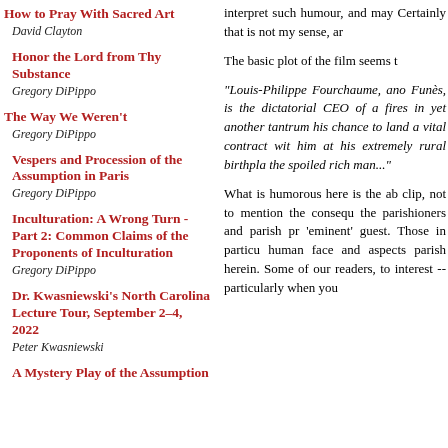How to Pray With Sacred Art
David Clayton
Honor the Lord from Thy Substance
Gregory DiPippo
The Way We Weren't
Gregory DiPippo
Vespers and Procession of the Assumption in Paris
Gregory DiPippo
Inculturation: A Wrong Turn - Part 2: Common Claims of the Proponents of Inculturation
Gregory DiPippo
Dr. Kwasniewski's North Carolina Lecture Tour, September 2–4, 2022
Peter Kwasniewski
A Mystery Play of the Assumption
interpret such humour, and may Certainly that is not my sense, ar
The basic plot of the film seems t
"Louis-Philippe Fourchaume, ano Funès, is the dictatorial CEO of a fires in yet another tantrum his chance to land a vital contract wit him at his extremely rural birthpla the spoiled rich man..."
What is humorous here is the ab clip, not to mention the consequ the parishioners and parish pr 'eminent' guest. Those in particu human face and aspects parish herein. Some of our readers, to interest -- particularly when you